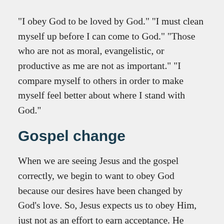“I obey God to be loved by God.” “I must clean myself up before I can come to God.” “Those who are not as moral, evangelistic, or productive as me are not as important.” “I compare myself to others in order to make myself feel better about where I stand with God.”
Gospel change
When we are seeing Jesus and the gospel correctly, we begin to want to obey God because our desires have been changed by God’s love. So, Jesus expects us to obey Him, just not as an effort to earn acceptance. He wants our obedience to flow from a love for Him and His way of doing things. The gospel works inside our hearts by